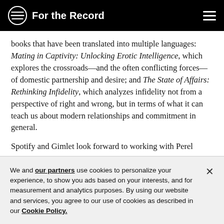For the Record
books that have been translated into multiple languages: Mating in Captivity: Unlocking Erotic Intelligence, which explores the crossroads—and the often conflicting forces—of domestic partnership and desire; and The State of Affairs: Rethinking Infidelity, which analyzes infidelity not from a perspective of right and wrong, but in terms of what it can teach us about modern relationships and commitment in general.
Spotify and Gimlet look forward to working with Perel
We and our partners use cookies to personalize your experience, to show you ads based on your interests, and for measurement and analytics purposes. By using our website and services, you agree to our use of cookies as described in our Cookie Policy.